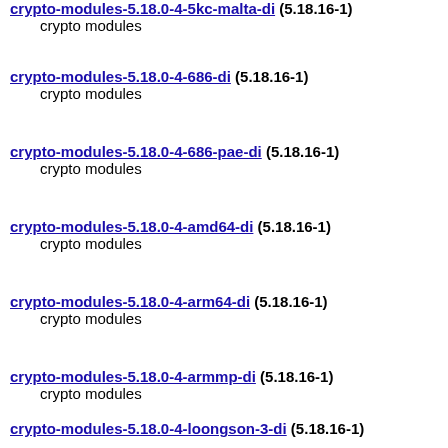crypto-modules-5.18.0-4-5kc-malta-di (5.18.16-1)
    crypto modules
crypto-modules-5.18.0-4-686-di (5.18.16-1)
    crypto modules
crypto-modules-5.18.0-4-686-pae-di (5.18.16-1)
    crypto modules
crypto-modules-5.18.0-4-amd64-di (5.18.16-1)
    crypto modules
crypto-modules-5.18.0-4-arm64-di (5.18.16-1)
    crypto modules
crypto-modules-5.18.0-4-armmp-di (5.18.16-1)
    crypto modules
crypto-modules-5.18.0-4-loongson-3-di (5.18.16-1)